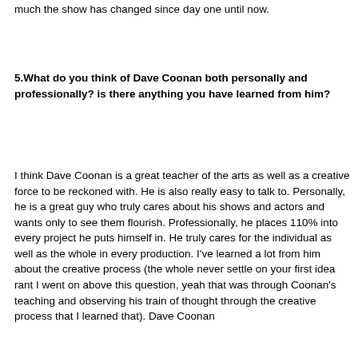much the show has changed since day one until now.
5.What do you think of Dave Coonan both personally and professionally? is there anything you have learned from him?
I think Dave Coonan is a great teacher of the arts as well as a creative force to be reckoned with. He is also really easy to talk to. Personally, he is a great guy who truly cares about his shows and actors and wants only to see them flourish. Professionally, he places 110% into every project he puts himself in. He truly cares for the individual as well as the whole in every production. I've learned a lot from him about the creative process (the whole never settle on your first idea rant I went on above this question, yeah that was through Coonan's teaching and observing his train of thought through the creative process that I learned that). Dave Coonan